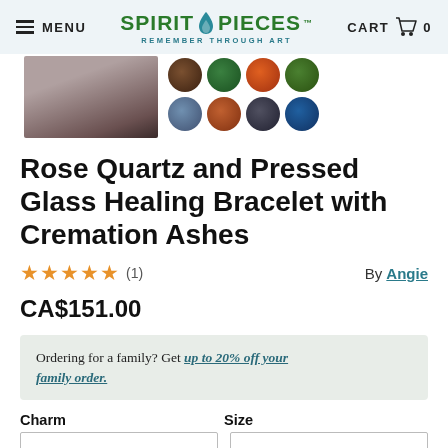MENU | SPIRIT PIECES™ REMEMBER THROUGH ART | CART 0
[Figure (photo): Product image of bracelet with ashes (partially visible) and thumbnail grid of color variants]
Rose Quartz and Pressed Glass Healing Bracelet with Cremation Ashes
★★★★★ (1)   By Angie
CA$151.00
Ordering for a family? Get up to 20% off your family order.
Charm   Size